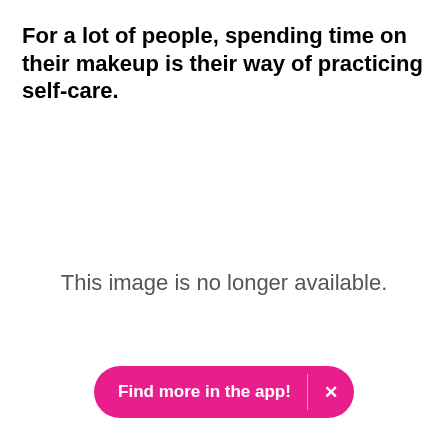For a lot of people, spending time on their makeup is their way of practicing self-care.
This image is no longer available.
Find more in the app!  ✕